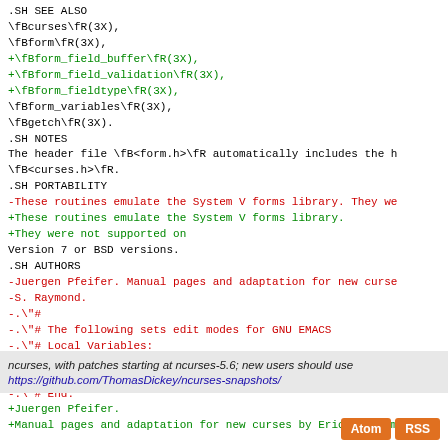.SH SEE ALSO
\fBcurses\fR(3X),
\fBform\fR(3X),
+\fBform_field_buffer\fR(3X),
+\fBform_field_validation\fR(3X),
+\fBform_fieldtype\fR(3X),
\fBform_variables\fR(3X),
\fBgetch\fR(3X).
.SH NOTES
The header file \fB<form.h>\fR automatically includes the h
\fB<curses.h>\fR.
.SH PORTABILITY
-These routines emulate the System V forms library.  They we
+These routines emulate the System V forms library.
+They were not supported on
 Version 7 or BSD versions.
 .SH AUTHORS
-Juergen Pfeifer.  Manual pages and adaptation for new curse
-S. Raymond.
-.\"#
-.\"# The following sets edit modes for GNU EMACS
-.\"# Local Variables:
-.\"# mode:nroff
-.\"# fill-column:79
-.\"# End:
+Juergen Pfeifer.
+Manual pages and adaptation for new curses by Eric S. Raymo
ncurses, with patches starting at ncurses-5.6; new users should use
https://github.com/ThomasDickey/ncurses-snapshots/